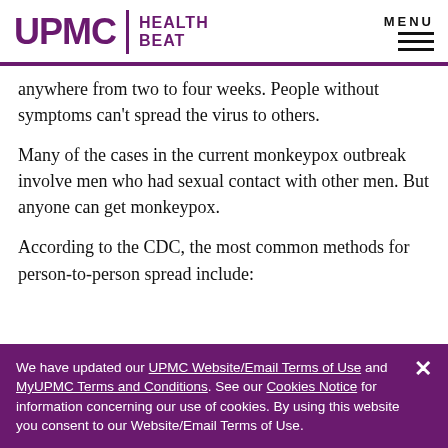UPMC HEALTH BEAT
anywhere from two to four weeks. People without symptoms can't spread the virus to others.
Many of the cases in the current monkeypox outbreak involve men who had sexual contact with other men. But anyone can get monkeypox.
According to the CDC, the most common methods for person-to-person spread include:
We have updated our UPMC Website/Email Terms of Use and MyUPMC Terms and Conditions. See our Cookies Notice for information concerning our use of cookies. By using this website you consent to our Website/Email Terms of Use.